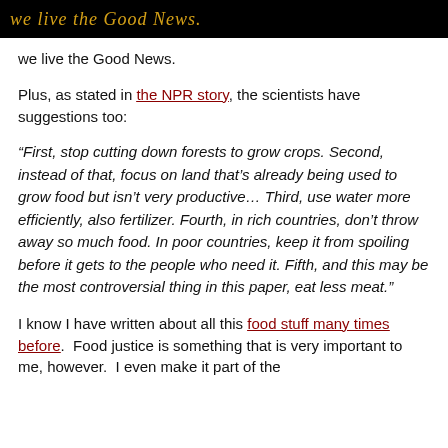…we live the Good News.
we live the Good News.
Plus, as stated in the NPR story, the scientists have suggestions too:
“First, stop cutting down forests to grow crops. Second, instead of that, focus on land that’s already being used to grow food but isn’t very productive… Third, use water more efficiently, also fertilizer. Fourth, in rich countries, don’t throw away so much food. In poor countries, keep it from spoiling before it gets to the people who need it. Fifth, and this may be the most controversial thing in this paper, eat less meat.”
I know I have written about all this food stuff many times before. Food justice is something that is very important to me, however. I even make it part of the